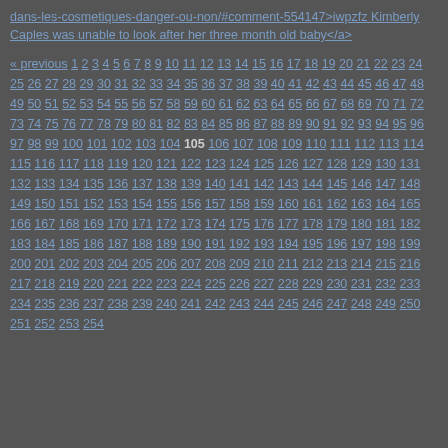dans-les-cosmetiques-danger-ou-non/#comment-554147>iwpzfz Kimberly Caples was unable to look after her three month old baby</a>
« previous 1 2 3 4 5 6 7 8 9 10 11 12 13 14 15 16 17 18 19 20 21 22 23 24 25 26 27 28 29 30 31 32 33 34 35 36 37 38 39 40 41 42 43 44 45 46 47 48 49 50 51 52 53 54 55 56 57 58 59 60 61 62 63 64 65 66 67 68 69 70 71 72 73 74 75 76 77 78 79 80 81 82 83 84 85 86 87 88 89 90 91 92 93 94 95 96 97 98 99 100 101 102 103 104 105 106 107 108 109 110 111 112 113 114 115 116 117 118 119 120 121 122 123 124 125 126 127 128 129 130 131 132 133 134 135 136 137 138 139 140 141 142 143 144 145 146 147 148 149 150 151 152 153 154 155 156 157 158 159 160 161 162 163 164 165 166 167 168 169 170 171 172 173 174 175 176 177 178 179 180 181 182 183 184 185 186 187 188 189 190 191 192 193 194 195 196 197 198 199 200 201 202 203 204 205 206 207 208 209 210 211 212 213 214 215 216 217 218 219 220 221 222 223 224 225 226 227 228 229 230 231 232 233 234 235 236 237 238 239 240 241 242 243 244 245 246 247 248 249 250 251 252 253 254